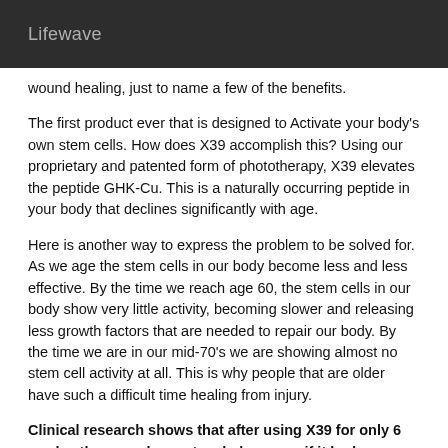Lifewave
wound healing, just to name a few of the benefits.
The first product ever that is designed to Activate your body's own stem cells. How does X39 accomplish this? Using our proprietary and patented form of phototherapy, X39 elevates the peptide GHK-Cu. This is a naturally occurring peptide in your body that declines significantly with age.
Here is another way to express the problem to be solved for. As we age the stem cells in our body become less and less effective. By the time we reach age 60, the stem cells in our body show very little activity, becoming slower and releasing less growth factors that are needed to repair our body. By the time we are in our mid-70's we are showing almost no stem cell activity at all. This is why people that are older have such a difficult time healing from injury.
Clinical research shows that after using X39 for only 6 weeks, the vascular system behaves as if it had